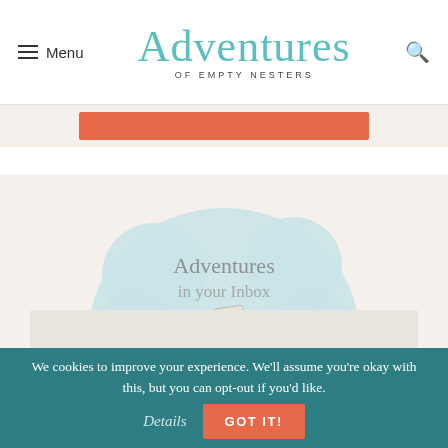Menu | Adventures of Empty Nesters | [search icon]
[Figure (logo): Adventures of Empty Nesters logo with teal cursive script and uppercase subtitle]
[Figure (illustration): Cloud-shaped badge with mailbox illustration and text 'Adventures in your Inbox — Sign up to receive new stories via email']
Email Address
We cookies to improve your experience. We'll assume you're okay with this, but you can opt-out if you'd like.
Details
GOT IT!